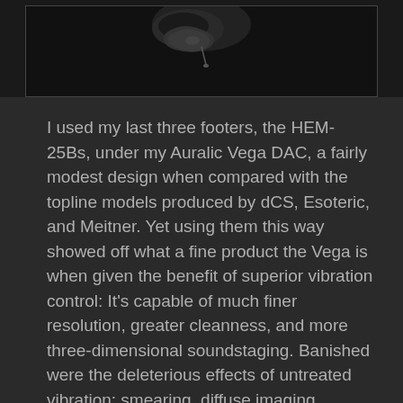[Figure (photo): Dark photograph showing a small object (audio footer/component) against a near-black background, cropped at top of page]
I used my last three footers, the HEM-25Bs, under my Auralic Vega DAC, a fairly modest design when compared with the topline models produced by dCS, Esoteric, and Meitner. Yet using them this way showed off what a fine product the Vega is when given the benefit of superior vibration control: It's capable of much finer resolution, greater cleanness, and more three-dimensional soundstaging. Banished were the deleterious effects of untreated vibration: smearing, diffuse imaging, shallow soundstages, lack of clarity, homogenized or obscured textures, shortened decays. The footers completely did away with treble raggedness and made the sound much more natural, with more air and space around aural images. Even the most complicated music -- real system-crushers like Mozart's Requiem and Beethoven's Missa Solemnis, both performed by Robert Shaw leading the